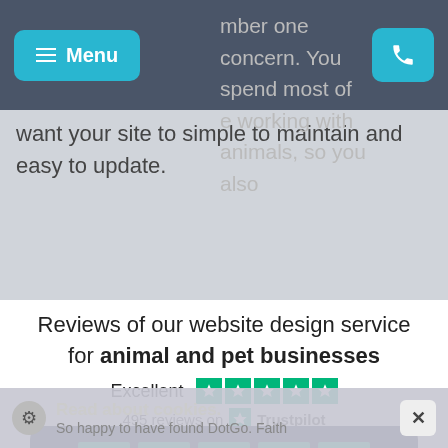Menu [navigation bar with phone button]
mber one concern. You spend most of e working with animals, so you also want your site to simple to maintain and easy to update.
Reviews of our website design service for animal and pet businesses
[Figure (other): Trustpilot rating: Excellent with 5 green stars, 495 reviews on Trustpilot]
[Figure (other): Dark navy box with 5 large green star icons and text '5 star review']
Read about cookies. So happy to have found DotGo. Faith